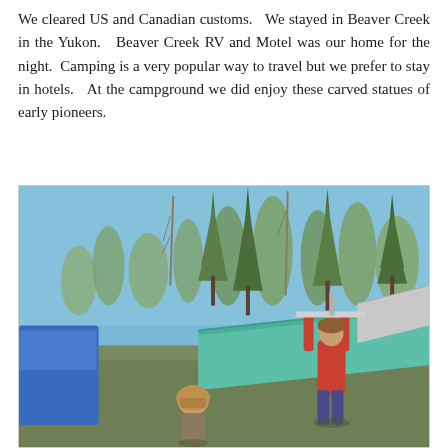We cleared US and Canadian customs.   We stayed in Beaver Creek in the Yukon.   Beaver Creek RV and Motel was our home for the night.  Camping is a very popular way to travel but we prefer to stay in hotels.   At the campground we did enjoy these carved statues of early pioneers.
[Figure (photo): Outdoor photo at a campground showing two people: one in a red shirt holding a pull-up bar overhead, another person with a head covering. Background shows tall evergreen trees under a clear blue sky, with a teal/green roof structure and a blue vehicle on the left.]